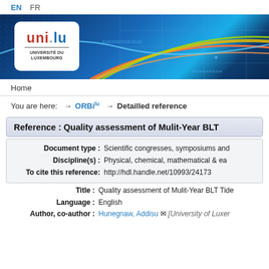EN  FR
[Figure (logo): University of Luxembourg banner with logo showing 'uni.lu UNIVERSITÉ DU LUXEMBOURG' on white rounded box over blue digital/tech themed banner background]
Home
You are here:  → ORBIlu  → Detailled reference
Reference : Quality assessment of Mulit-Year BLT...
| Field | Value |
| --- | --- |
| Document type : | Scientific congresses, symposiums and... |
| Discipline(s) : | Physical, chemical, mathematical & ea... |
| To cite this reference: | http://hdl.handle.net/10993/24173 |
| Field | Value |
| --- | --- |
| Title : | Quality assessment of Mulit-Year BLT Tide... |
| Language : | English |
| Author, co-author : | Hunegnaw, Addisu [University of Luxer... |